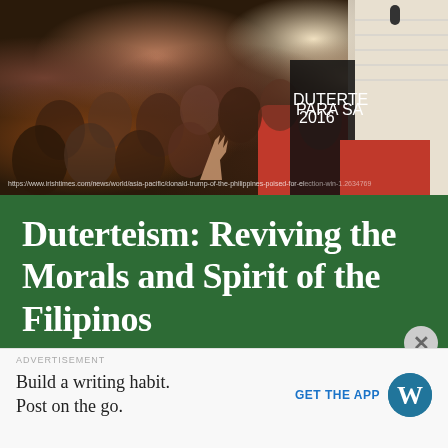[Figure (photo): Crowd scene photo showing a large group of people at what appears to be a political rally. A person on the right side holds a microphone. URL watermark at the bottom references irishtimes.com article about Donald Trump and the Philippines.]
Duterteism: Reviving the Morals and Spirit of the Filipinos
MONDAY, 28 DECEMBER 2020  /  7 COMMENTS
ADVERTISEMENT
Build a writing habit. Post on the go.
GET THE APP